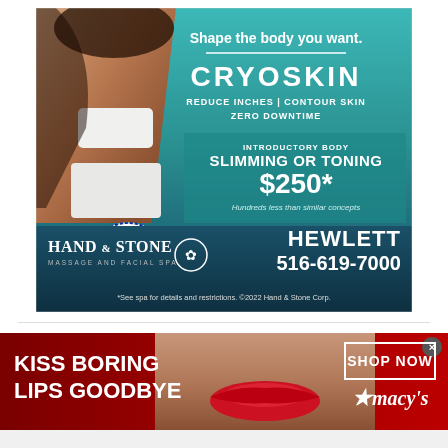[Figure (advertisement): CryoSkin advertisement by Hand & Stone Massage and Facial Spa. Shows a woman's figure, Long Island Choice Awards winner badge, and promotional text: 'Shape the body you want. CRYOSKIN. REDUCE INCHES | CONTOUR SKIN. ZERO DOWNTIME. INTRODUCTORY BODY SLIMMING OR TONING $250*. Hundreds less than similar concepts. HAND & STONE MASSAGE AND FACIAL SPA. HEWLETT 516-619-7000. *See spa for details and restrictions. ©2022 Hand & Stone Corp.']
[Figure (advertisement): Macy's advertisement. Dark red background with close-up of woman's face with red lips. Text: 'KISS BORING LIPS GOODBYE'. Button: 'SHOP NOW'. Macy's logo with star.]